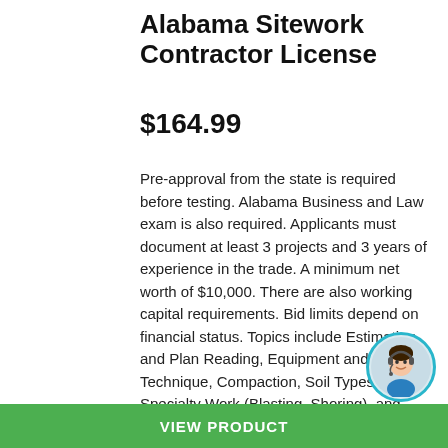Alabama Sitework Contractor License
$164.99
Pre-approval from the state is required before testing. Alabama Business and Law exam is also required. Applicants must document at least 3 projects and 3 years of experience in the trade. A minimum net worth of $10,000. There are also working capital requirements. Bid limits depend on financial status. Topics include Estimating and Plan Reading, Equipment and Technique, Compaction, Soil Types, Specialty Work (Blasting, Shoring), and Safety. To schedule an examination, contact PSI at 1-800-733-9267.  The program takes you through each one of the reference book...
[Figure (photo): Customer service representative with headset, avatar photo in circular frame with teal border]
VIEW PRODUCT